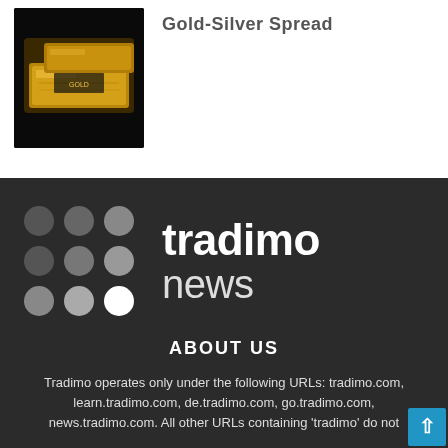[Figure (photo): Gold bars stacked on dark background]
Gold-Silver Spread
[Figure (logo): Tradimo news logo with dot grid and text 'tradimo news' on dark background]
ABOUT US
Tradimo operates only under the following URLs: tradimo.com, learn.tradimo.com, de.tradimo.com, go.tradimo.com, news.tradimo.com. All other URLs containing 'tradimo' do not belong to us...